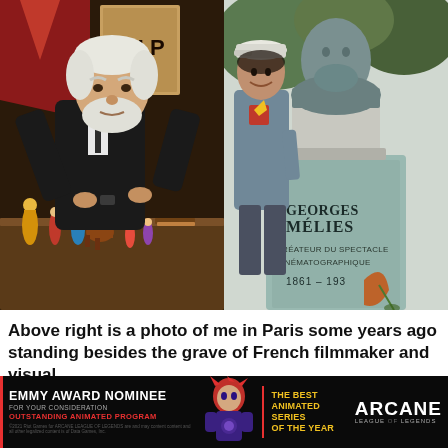[Figure (photo): Left photo: elderly man in dark suit examining a small figurine, with colorful toy figurines on a table in front of him, theatrical background with red tent and poster reading 'PUP']
[Figure (photo): Right photo: young man in grey t-shirt and cap standing next to a bronze bust on a grave monument inscribed 'GEORGES MÉLIES CRÉATEUR DU SPECTACLE CINÉMATOGRAPHIQUE 1861-1938' with a wilted rose on the stone]
Above right is a photo of me in Paris some years ago standing besides the grave of French filmmaker and visual
[Figure (other): Advertisement banner: black background with red-haired animated character. Left side: 'EMMY AWARD NOMINEE FOR YOUR CONSIDERATION OUTSTANDING ANIMATED PROGRAM' in white and red text. Right side: 'THE BEST ANIMATED SERIES OF THE YEAR' in yellow, 'ARCANE LEAGUE OF LEGENDS' in large white text. Small fine print at bottom.]